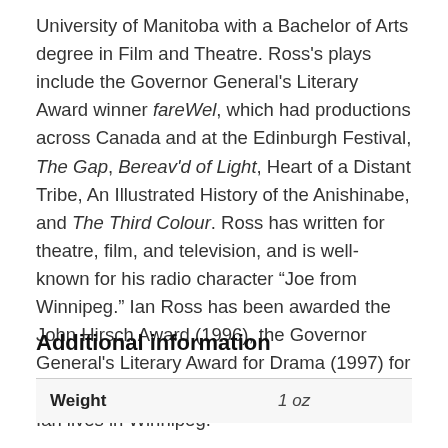University of Manitoba with a Bachelor of Arts degree in Film and Theatre. Ross's plays include the Governor General's Literary Award winner fareWel, which had productions across Canada and at the Edinburgh Festival, The Gap, Bereav'd of Light, Heart of a Distant Tribe, An Illustrated History of the Anishinabe, and The Third Colour. Ross has written for theatre, film, and television, and is well-known for his radio character “Joe from Winnipeg.” Ian Ross has been awarded the John Hirsch Award (1996), the Governor General's Literary Award for Drama (1997) for fareWel, and the James Buller Award (1999). Ian lives in Winnipeg.
Additional information
| Weight |  |
| --- | --- |
| Weight | 1 oz |